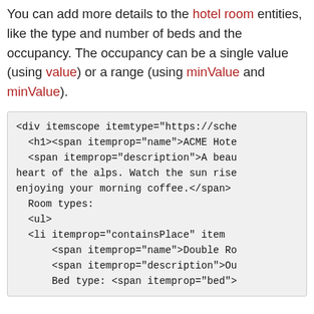You can add more details to the hotel room entities, like the type and number of beds and the occupancy. The occupancy can be a single value (using value) or a range (using minValue and minValue).
<div itemscope itemtype="https://sche
  <h1><span itemprop="name">ACME Hote
  <span itemprop="description">A beau
heart of the alps. Watch the sun rise
enjoying your morning coffee.</span>
  Room types:
  <ul>
  <li itemprop="containsPlace" item
      <span itemprop="name">Double Ro
      <span itemprop="description">Ou
      Bed type: <span itemprop="bed">